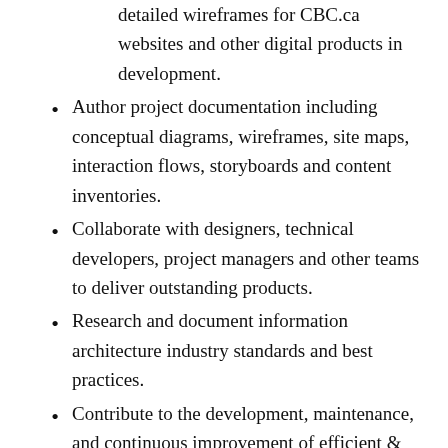detailed wireframes for CBC.ca websites and other digital products in development.
Author project documentation including conceptual diagrams, wireframes, site maps, interaction flows, storyboards and content inventories.
Collaborate with designers, technical developers, project managers and other teams to deliver outstanding products.
Research and document information architecture industry standards and best practices.
Contribute to the development, maintenance, and continuous improvement of efficient & effective usability